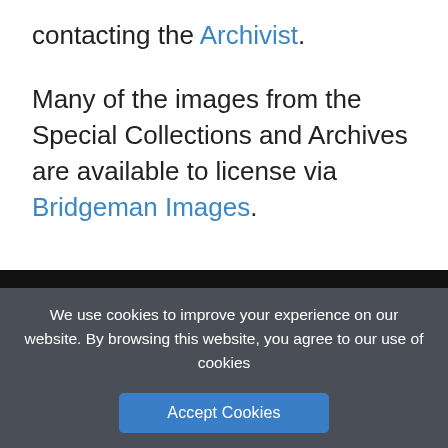contacting the Archivist.
Many of the images from the Special Collections and Archives are available to license via Bridgeman Images.
We use cookies to improve your experience on our website. By browsing this website, you agree to our use of cookies
Accept Cookies